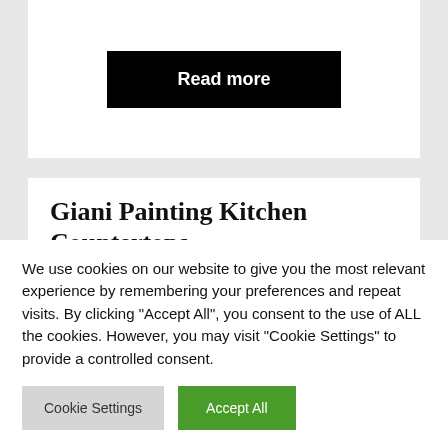Read more
Giani Painting Kitchen Countertops
Each slab of granite has its own individual special attractiveness and colour that can contribute appeal and character to each kitchen. When I first purchased my home I fell to the kitchen because it had a sizable expanse of dark granite countertop. The horizontal surface area of the
We use cookies on our website to give you the most relevant experience by remembering your preferences and repeat visits. By clicking "Accept All", you consent to the use of ALL the cookies. However, you may visit "Cookie Settings" to provide a controlled consent.
Cookie Settings
Accept All